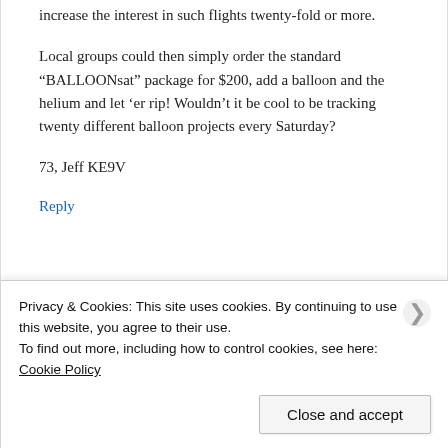increase the interest in such flights twenty-fold or more.
Local groups could then simply order the standard “BALLOONsat” package for $200, add a balloon and the helium and let ’er rip! Wouldn’t it be cool to be tracking twenty different balloon projects every Saturday?
73, Jeff KE9V
Reply
Privacy & Cookies: This site uses cookies. By continuing to use this website, you agree to their use.
To find out more, including how to control cookies, see here: Cookie Policy
Close and accept